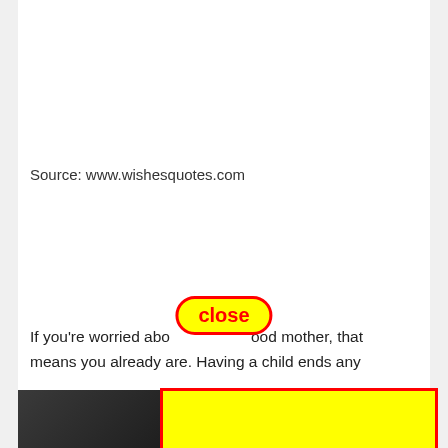[Figure (photo): Photo showing legs of people (adults and child) standing on green grass, with watermark 'WishesQuotes.com']
Source: www.wishesquotes.com
[Figure (other): Red-bordered 'close' button overlay (yellow background, red text)]
If you're worried about being a good mother, that means you already are. Having a child ends any feelings of – annex – becom y, and rosa d...it tran
[Figure (other): Large yellow rectangle with red border covering most of the text and bottom image]
[Figure (photo): Partial photo at bottom of page, dark tones]